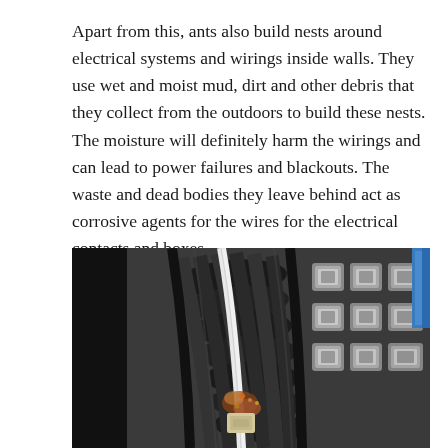Apart from this, ants also build nests around electrical systems and wirings inside walls. They use wet and moist mud, dirt and other debris that they collect from the outdoors to build these nests. The moisture will definitely harm the wirings and can lead to power failures and blackouts. The waste and dead bodies they leave behind act as corrosive agents for the wires for the electrical contacts and boxes.
[Figure (photo): Close-up photograph of electrical wiring and metal contacts/connectors, showing bundled black cables with a white wire running through them, and metallic terminal connectors (silver-colored) on the right side. Some corrosion or rust-colored material is visible near the center-bottom of the image. A blue object is partially visible on the right edge.]